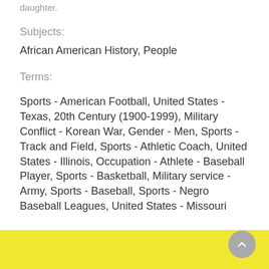daughter.
Subjects:
African American History, People
Terms:
Sports - American Football, United States - Texas, 20th Century (1900-1999), Military Conflict - Korean War, Gender - Men, Sports - Track and Field, Sports - Athletic Coach, United States - Illinois, Occupation - Athlete - Baseball Player, Sports - Basketball, Military service - Army, Sports - Baseball, Sports - Negro Baseball Leagues, United States - Missouri